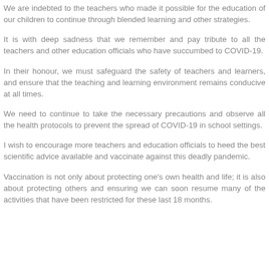We are indebted to the teachers who made it possible for the education of our children to continue through blended learning and other strategies.
It is with deep sadness that we remember and pay tribute to all the teachers and other education officials who have succumbed to COVID-19.
In their honour, we must safeguard the safety of teachers and learners, and ensure that the teaching and learning environment remains conducive at all times.
We need to continue to take the necessary precautions and observe all the health protocols to prevent the spread of COVID-19 in school settings.
I wish to encourage more teachers and education officials to heed the best scientific advice available and vaccinate against this deadly pandemic.
Vaccination is not only about protecting one's own health and life; it is also about protecting others and ensuring we can soon resume many of the activities that have been restricted for these last 18 months.